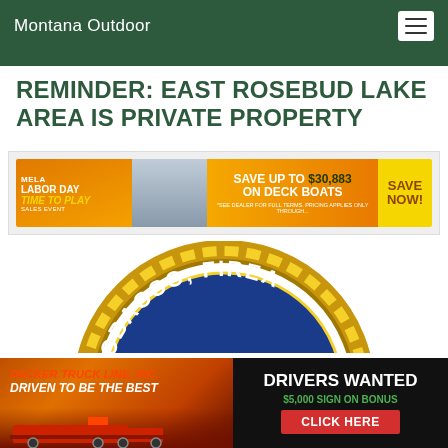Montana Outdoor
REMINDER: EAST ROSEBUD LAKE AREA IS PRIVATE PROPERTY
[Figure (infographic): Boat dealer advertisement: Save up to $30,883 on Deck Boats. Labor Day Time to Play sales event.]
[Figure (logo): Partial ATF (Tobacco, Firearms) seal/logo in blue and gold]
[Figure (infographic): Decker Truck Line, Inc. advertisement: Driven to be the best. Drivers Wanted. $5,000 Sign On Bonus. Click Here.]